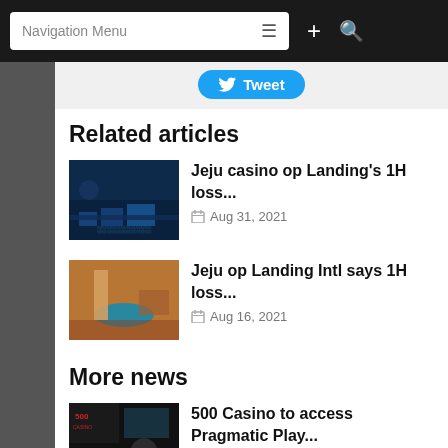Navigation Menu
Related articles
[Figure (photo): Aerial night view of Jeju casino resort with blue lights]
Jeju casino op Landing's 1H loss... Aug 31, 2021
[Figure (photo): Interior of casino floor with pool and red carpet]
Jeju op Landing Intl says 1H loss... Aug 16, 2021
More news
[Figure (photo): 500 Casino branding with woman dealer and Pragmatic Play banner]
500 Casino to access Pragmatic Play... Sep 05, 2022
[Figure (photo): CEO portrait photo on red background]
CEO confirms SJM wants to up its share...